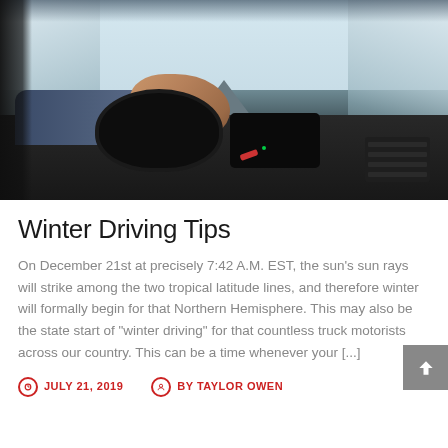[Figure (photo): Interior view from a car dashboard showing a person's hand on the steering wheel, with a snow-covered road and trees visible through the windshield in winter conditions.]
Winter Driving Tips
On December 21st at precisely 7:42 A.M. EST, the sun's sun rays will strike among the two tropical latitude lines, and therefore winter will formally begin for that Northern Hemisphere. This may also be the state start of "winter driving" for that countless truck motorists across our country. This can be a time whenever your [...]
JULY 21, 2019   BY TAYLOR OWEN